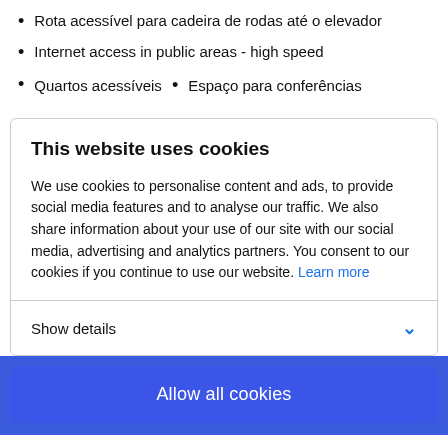Rota acessível para cadeira de rodas até o elevador
Internet access in public areas - high speed
Quartos acessíveis   •   Espaço para conferências
This website uses cookies
We use cookies to personalise content and ads, to provide social media features and to analyse our traffic. We also share information about your use of our site with our social media, advertising and analytics partners. You consent to our cookies if you continue to use our website. Learn more
Show details
Allow all cookies